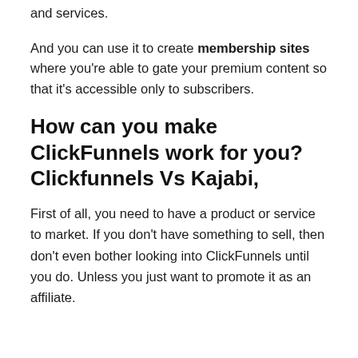and services.
And you can use it to create membership sites where you're able to gate your premium content so that it's accessible only to subscribers.
How can you make ClickFunnels work for you? Clickfunnels Vs Kajabi,
First of all, you need to have a product or service to market. If you don't have something to sell, then don't even bother looking into ClickFunnels until you do. Unless you just want to promote it as an affiliate.